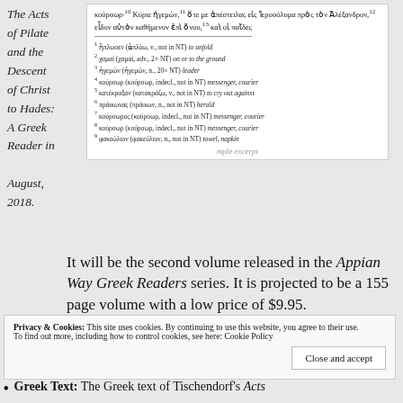The Acts of Pilate and the Descent of Christ to Hades: A Greek Reader in August, 2018.
[Figure (screenshot): Excerpt from a Greek reader showing Greek text with superscript footnote numbers, a horizontal rule, and numbered footnotes defining Greek vocabulary words with their English meanings.]
mple excerpt
It will be the second volume released in the Appian Way Greek Readers series. It is projected to be a 155 page volume with a low price of $9.95.
Privacy & Cookies: This site uses cookies. By continuing to use this website, you agree to their use. To find out more, including how to control cookies, see here: Cookie Policy
Close and accept
Greek Text: The Greek text of Tischendorf's Acts